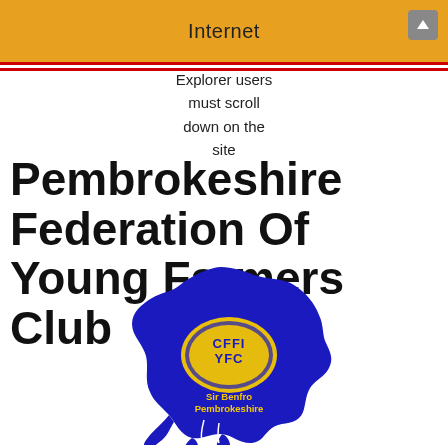Internet
Explorer users must scroll down on the site
Pembrokeshire Federation Of Young Farmers Club
[Figure (logo): Pembrokeshire Federation of Young Farmers Club logo: blue map silhouette of Pembrokeshire with yellow CFFI/YFC shield emblem and text 'Sir Benfro Pembrokeshire']